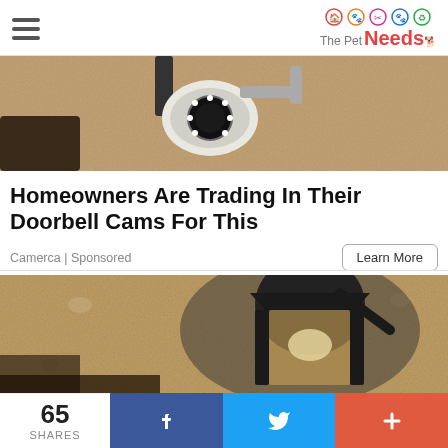The Pet Needs
[Figure (photo): Close-up photo of a white outdoor security camera mounted on a textured sandy/stucco wall]
Homeowners Are Trading In Their Doorbell Cams For This
Camerca | Sponsored
[Figure (photo): Photo of a black outdoor wall lantern/sconce mounted on a textured stucco wall]
65 SHARES  f  (Twitter bird)  +